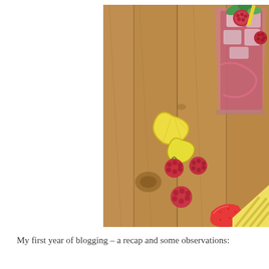[Figure (photo): A red raspberry cocktail in a glass with ice, mint leaves, raspberries, and a lemon wedge as garnish, sitting on a rustic wooden table. Beside the glass are three raspberries, two lemon wedges, a strawberry, and a yellow striped napkin.]
My first year of blogging – a recap and some observations: